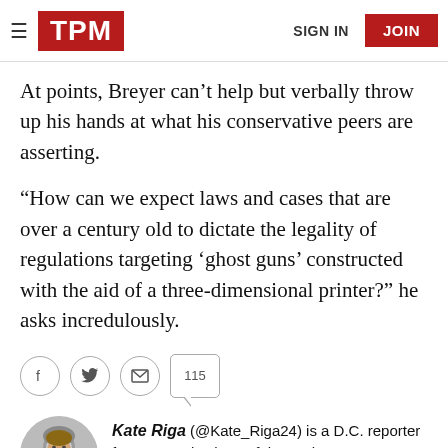TPM — SIGN IN | JOIN
At points, Breyer can’t help but verbally throw up his hands at what his conservative peers are asserting.
“How can we expect laws and cases that are over a century old to dictate the legality of regulations targeting ‘ghost guns’ constructed with the aid of a three-dimensional printer?” he asks incredulously.
[Figure (infographic): Social share icons: Facebook, Twitter, Email circles, and a comment bubble showing 115 comments]
Kate Riga (@Kate_Riga24) is a D.C. reporter for TPM and cohost of the Josh